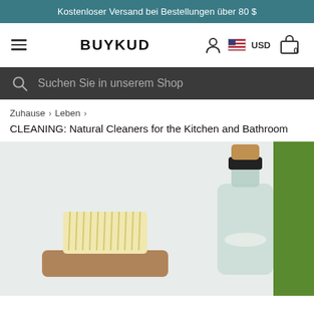Kostenloser Versand bei Bestellungen über 80 $
BUYKUD — navigation bar with hamburger menu, user icon, USD flag, cart (0)
Suchen Sie in unserem Shop
Zuhause > Leben >
CLEANING: Natural Cleaners for the Kitchen and Bathroom
[Figure (photo): Photo of natural cleaning supplies: a wooden scrub brush with light bristles on a wooden holder, and a glass bottle with a dark stopper and wooden cap containing white powder, against a light background with a green element on the right.]